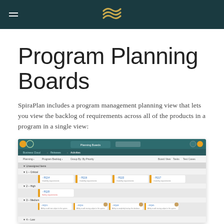SpiraPlan navigation header with logo
Program Planning Boards
SpiraPlan includes a program management planning view that lets you view the backlog of requirements across all of the products in a program in a single view:
[Figure (screenshot): Screenshot of the SpiraPlan Program Planning Board interface showing a kanban-style board with rows for Critical, High, Medium, and Low priority items, with requirement cards organized across columns representing different products.]